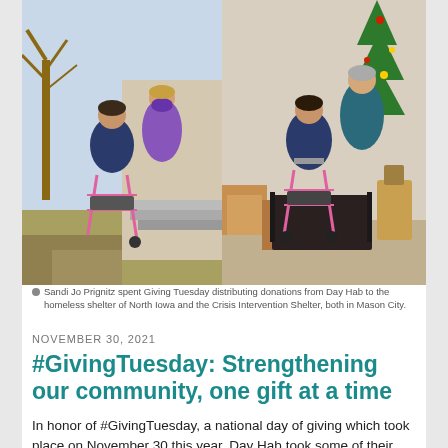[Figure (photo): Two photos side by side: Left photo shows a person using a pink walker with bags, standing outside with another person in a purple mask on stairs. Right photo shows the same person with the pink walker indoors near donation boxes, with another person standing behind.]
Sandi Jo Prignitz spent Giving Tuesday distributing donations from Day Hab to the homeless shelter of North Iowa and the Crisis Intervention Shelter, both in Mason City.
NOVEMBER 30, 2021
#GivingTuesday: Strengthening our community, one gift at a time
In honor of #GivingTuesday, a national day of giving which took place on November 30 this year, Day Hab took some of their pop can money and donations from staff and